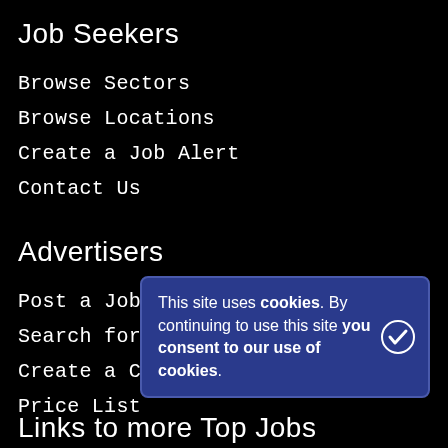Job Seekers
Browse Sectors
Browse Locations
Create a Job Alert
Contact Us
Advertisers
Post a Job
Search for Candidates
Create a Candidate Alert
Price List
This site uses cookies. By continuing to use this site you consent to our use of cookies.
Links to more Top Jobs